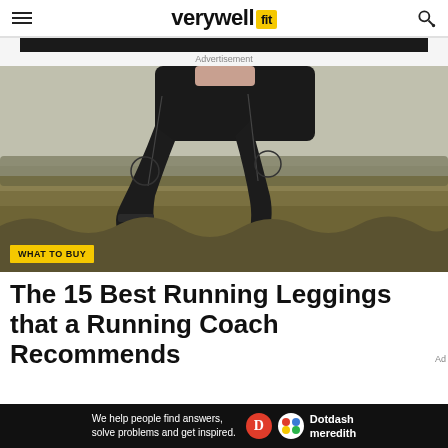verywell fit
Advertisement
[Figure (photo): Person running outdoors in black compression leggings and running shoes, in a field with dry grass and trees in background. Yellow 'WHAT TO BUY' badge overlaid at bottom left.]
The 15 Best Running Leggings that a Running Coach Recommends
We help people find answers, solve problems and get inspired. Dotdash meredith